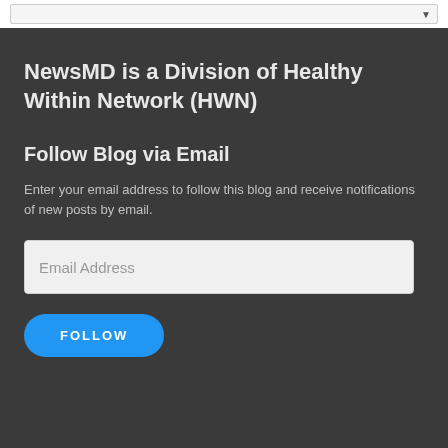NewsMD is a Division of Healthy Within Network (HWN)
Follow Blog via Email
Enter your email address to follow this blog and receive notifications of new posts by email.